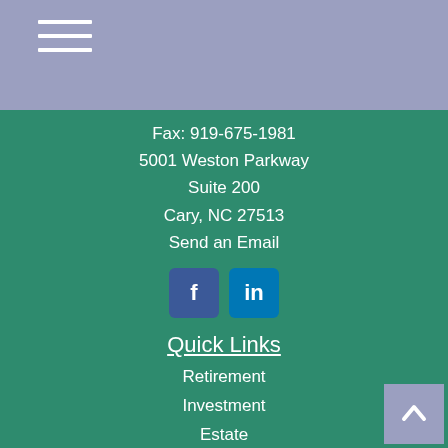[Figure (other): Hamburger menu icon (three horizontal white lines) on purple/blue header background]
Fax: 919-675-1981
5001 Weston Parkway
Suite 200
Cary, NC 27513
Send an Email
[Figure (other): Social media icons: Facebook (f) and LinkedIn (in) buttons]
Quick Links
Retirement
Investment
Estate
Insurance
Tax
Money
Lifestyle
All Articles
All Videos
All Calculators